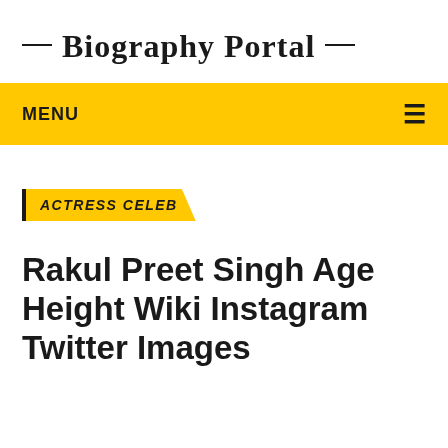— Biography Portal —
MENU
ACTRESS CELEB
Rakul Preet Singh Age Height Wiki Instagram Twitter Images